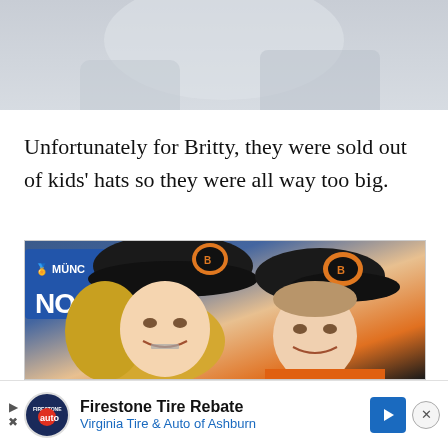[Figure (photo): Partial photo at top of page, showing a cropped image, mostly grey/washed out background]
Unfortunately for Britty, they were sold out of kids' hats so they were all way too big.
[Figure (photo): Two kids wearing oversized Cincinnati Bengals black caps, smiling for a selfie. Left child has long blonde hair; right child wearing orange Bengals jersey. Background shows a blue sign with 'MÜNC' text.]
Firestone Tire Rebate Virginia Tire & Auto of Ashburn